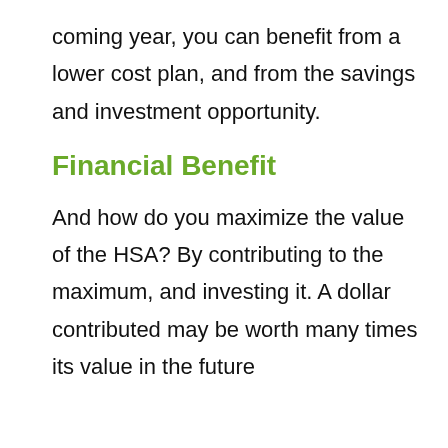coming year, you can benefit from a lower cost plan, and from the savings and investment opportunity.
Financial Benefit
And how do you maximize the value of the HSA? By contributing to the maximum, and investing it. A dollar contributed may be worth many times its value in the future